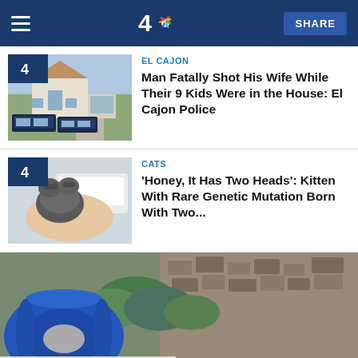NBC 4 — SHARE
[Figure (screenshot): Thumbnail photo of a house with police cars parked outside, residential neighborhood scene]
EL CAJON
Man Fatally Shot His Wife While Their 9 Kids Were in the House: El Cajon Police
[Figure (screenshot): Thumbnail photo of someone holding a small kitten with two heads, close-up view]
CATS
'Honey, It Has Two Heads': Kitten With Rare Genetic Mutation Born With Two...
[Figure (photo): Large photo of a blue inflatable pool float ring with green shrubbery in the background]